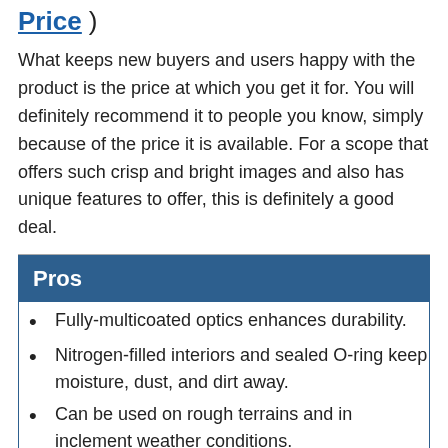Price )
What keeps new buyers and users happy with the product is the price at which you get it for. You will definitely recommend it to people you know, simply because of the price it is available. For a scope that offers such crisp and bright images and also has unique features to offer, this is definitely a good deal.
Pros
Fully-multicoated optics enhances durability.
Nitrogen-filled interiors and sealed O-ring keep moisture, dust, and dirt away.
Can be used on rough terrains and in inclement weather conditions.
Versatile zoom range allows you to have bright images even in low-light conditions.
Side parallax adjustment has target turrets that can be